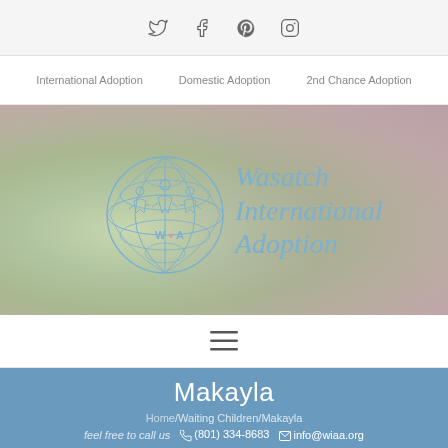Social icons: Twitter, Facebook, Pinterest, Instagram
International Adoption | Domestic Adoption | 2nd Chance Adoption
[Figure (logo): Wasatch International Adoption logo — globe with figures and cursive text reading 'Wasatch International Adoption']
Hamburger menu icon
Makayla
Home/Waiting Children/Makayla
feel free to call us  (801) 334-8683  info@wiaa.org